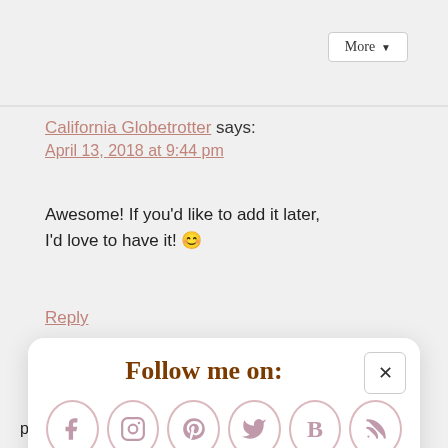[Figure (screenshot): More button with dropdown arrow in top right corner]
California Globetrotter says:
April 13, 2018 at 9:44 pm
Awesome! If you'd like to add it later, I'd love to have it! 🙂
Reply
[Figure (infographic): Follow me on: modal popup with social media icons (Facebook, Instagram, Pinterest, Twitter, Bloglovin, RSS) and newsletter signup with Subscribe input and Sign Up! button]
participant as a "lady."